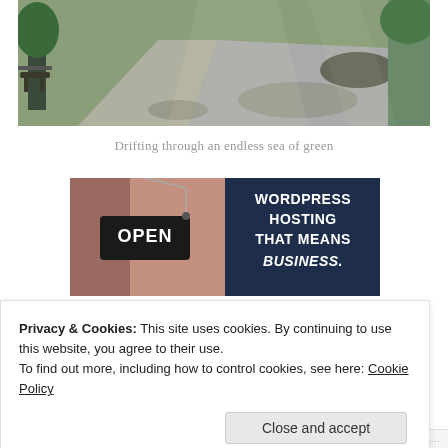[Figure (photo): Park pathway with green trees, benches, and dappled sunlight on the pavement.]
Drifting through an endless sea of green
[Figure (infographic): WordPress hosting advertisement banner. Left side shows a person holding an OPEN sign; right side has dark navy background with white bold text reading 'WORDPRESS HOSTING THAT MEANS BUSINESS.']
Privacy & Cookies: This site uses cookies. By continuing to use this website, you agree to their use.
To find out more, including how to control cookies, see here: Cookie Policy
Close and accept